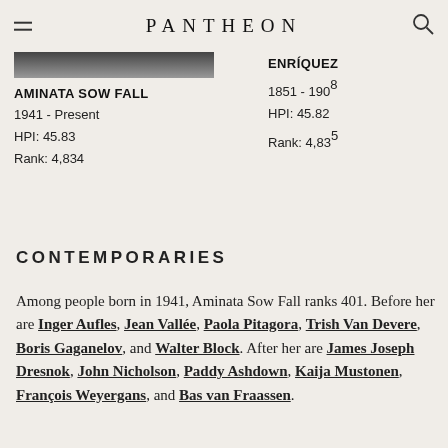PANTHEON
AMINATA SOW FALL
1941 - Present
HPI: 45.83
Rank: 4,834
ENRÍQUEZ
1851 - 1908
HPI: 45.82
Rank: 4,835
CONTEMPORARIES
Among people born in 1941, Aminata Sow Fall ranks 401. Before her are Inger Aufles, Jean Vallée, Paola Pitagora, Trish Van Devere, Boris Gaganelov, and Walter Block. After her are James Joseph Dresnok, John Nicholson, Paddy Ashdown, Kaija Mustonen, François Weyergans, and Bas van Fraassen.